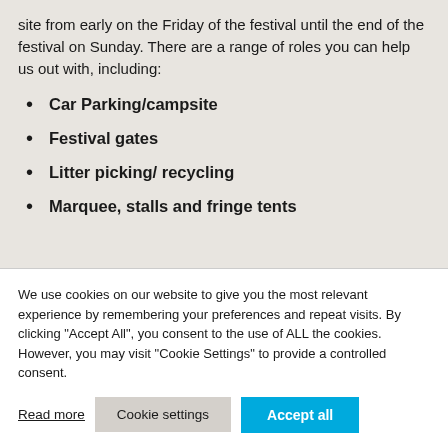site from early on the Friday of the festival until the end of the festival on Sunday. There are a range of roles you can help us out with, including:
Car Parking/campsite
Festival gates
Litter picking/ recycling
Marquee, stalls and fringe tents
We use cookies on our website to give you the most relevant experience by remembering your preferences and repeat visits. By clicking "Accept All", you consent to the use of ALL the cookies. However, you may visit "Cookie Settings" to provide a controlled consent.
Read more | Cookie settings | Accept all